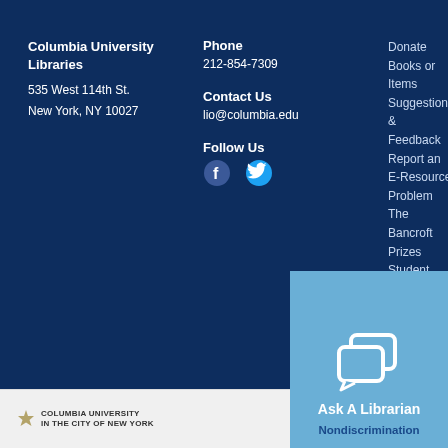Columbia University Libraries
535 West 114th St.
New York, NY 10027
Phone
212-854-7309
Contact Us
lio@columbia.edu
Follow Us
Donate Books or Items
Suggestions & Feedback
Report an E-Resource Problem
The Bancroft Prizes
Student Library Advisory Committee
Jobs & Internships
Behind the Scenes at Columbia's Libraries
Policies
Copyright
[Figure (logo): Columbia University in the City of New York shield logo with text]
©2021 Columbia University
[Figure (infographic): Ask A Librarian chat button with speech bubble icon and Nondiscrimination link below]